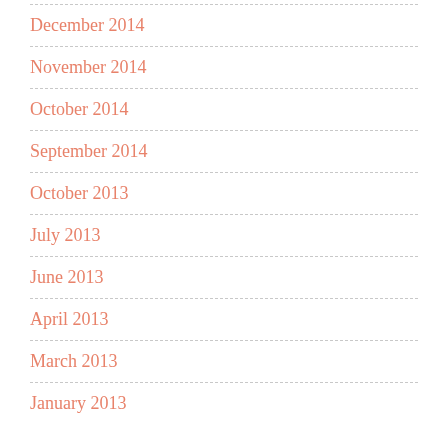December 2014
November 2014
October 2014
September 2014
October 2013
July 2013
June 2013
April 2013
March 2013
January 2013